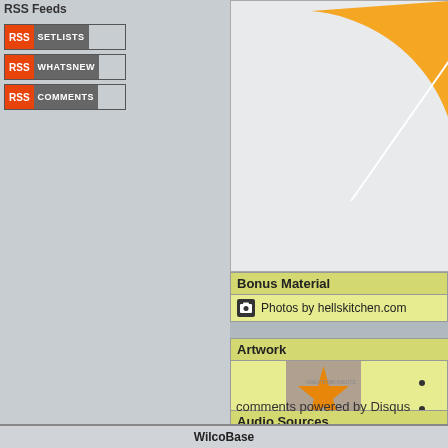RSS Feeds
[Figure (other): RSS Setlists button - orange RSS label and gray SETLISTS label]
[Figure (other): RSS Whatsnew button - orange RSS label and gray WHATSNEW label]
[Figure (other): RSS Comments button - orange RSS label and gray COMMENTS label]
[Figure (pie-chart): Partial orange pie chart visible in upper right]
Bonus Material
Photos by hellskitchen.com
Artwork
[Figure (illustration): Album artwork showing orange star on tan/brown background with text WILCO]
Audio Sources
etree users with this show
comments powered by Disqus
WilcoBase